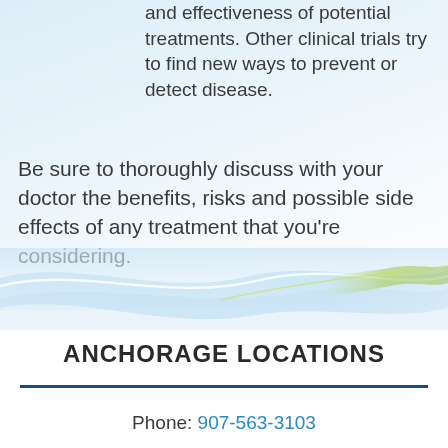and effectiveness of potential treatments. Other clinical trials try to find new ways to prevent or detect disease.
Be sure to thoroughly discuss with your doctor the benefits, risks and possible side effects of any treatment that you’re considering.
[Figure (illustration): Decorative wave graphic with blue and green flowing lines on a light blue background]
ANCHORAGE LOCATIONS
Phone: 907-563-3103